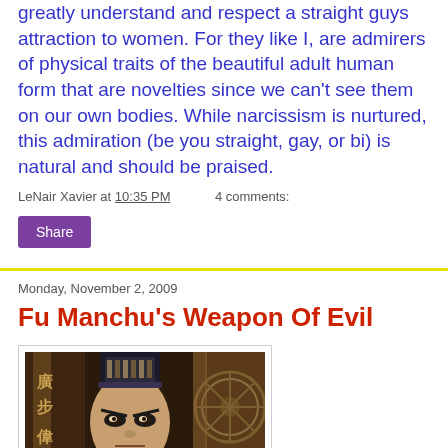greatly understand and respect a straight guys attraction to women. For they like I, are admirers of physical traits of the beautiful adult human form that are novelties since we can't see them on our own bodies. While narcissism is nurtured, this admiration (be you straight, gay, or bi) is natural and should be praised.
LeNair Xavier at 10:35 PM    4 comments:
Share
Monday, November 2, 2009
Fu Manchu's Weapon Of Evil
[Figure (photo): A man in elaborate Chinese theatrical costume and makeup portraying Fu Manchu, with ornate background decorations and Chinese characters visible.]